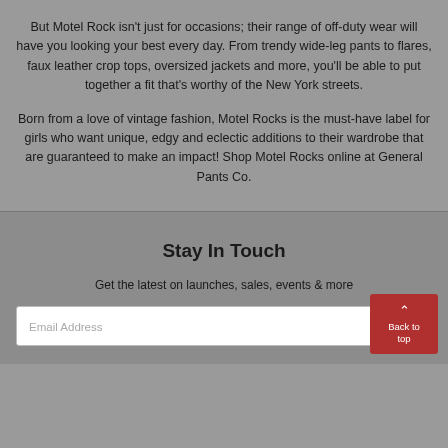But Motel Rock isn't just for occasions; their range of off-duty wear will have you looking your best every day. From trendy wide-leg pants to flares, faux leather crop tops, oversized jackets and more, you'll be able to put together a fit that's worthy of the New York streets.
Born from a love of vintage fashion, Motel Rocks is the must-have label for girls who want unique, edgy and eclectic additions to their wardrobe that are guaranteed to make an impact! Shop Motel Rocks online at General Pants Co.
Stay In Touch
Get the latest on launches, sales, events & more
Email Address